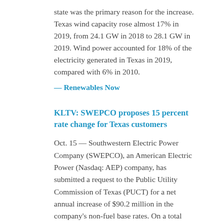state was the primary reason for the increase. Texas wind capacity rose almost 17% in 2019, from 24.1 GW in 2018 to 28.1 GW in 2019. Wind power accounted for 18% of the electricity generated in Texas in 2019, compared with 6% in 2010.
— Renewables Now
KLTV: SWEPCO proposes 15 percent rate change for Texas customers
Oct. 15 — Southwestern Electric Power Company (SWEPCO), an American Electric Power (Nasdaq: AEP) company, has submitted a request to the Public Utility Commission of Texas (PUCT) for a net annual increase of $90.2 million in the company's non-fuel base rates. On a total customer bill basis, the net increase is approximately 15.6%.